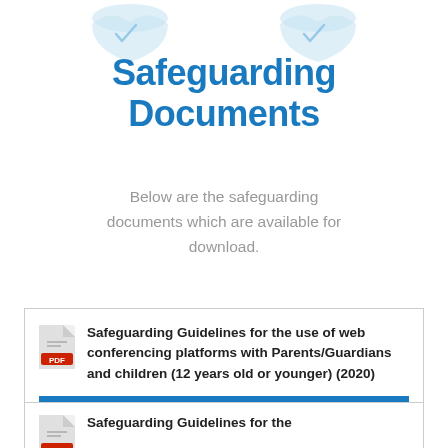[Figure (illustration): Decorative heart/shield shapes at top of page in light blue/grey]
Safeguarding Documents
Below are the safeguarding documents which are available for download.
Safeguarding Guidelines for the use of web conferencing platforms with Parents/Guardians and children (12 years old or younger) (2020)
DOWNLOAD
Safeguarding Guidelines for the